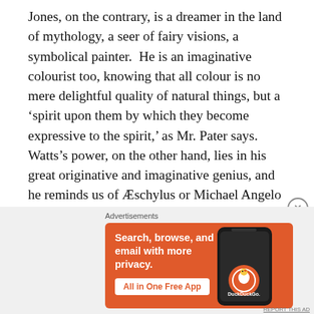Jones, on the contrary, is a dreamer in the land of mythology, a seer of fairy visions, a symbolical painter.  He is an imaginative colourist too, knowing that all colour is no mere delightful quality of natural things, but a 'spirit upon them by which they become expressive to the spirit,' as Mr. Pater says.  Watts's power, on the other hand, lies in his great originative and imaginative genius, and he reminds us of Æschylus or Michael Angelo in the startling vividness of his conceptions.  Although these three painters differ much in aim and in result, they yet are one in their faith, and love, and reverence, the three golden keys to the gate of the House Beautiful.
[Figure (other): DuckDuckGo advertisement banner: 'Search, browse, and email with more privacy. All in One Free App' with a phone image showing DuckDuckGo app.]